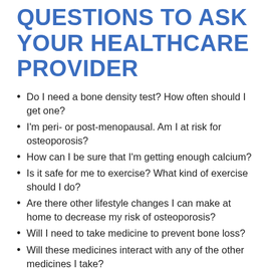QUESTIONS TO ASK YOUR HEALTHCARE PROVIDER
Do I need a bone density test? How often should I get one?
I'm peri- or post-menopausal. Am I at risk for osteoporosis?
How can I be sure that I'm getting enough calcium?
Is it safe for me to exercise? What kind of exercise should I do?
Are there other lifestyle changes I can make at home to decrease my risk of osteoporosis?
Will I need to take medicine to prevent bone loss?
Will these medicines interact with any of the other medicines I take?
FOR MORE